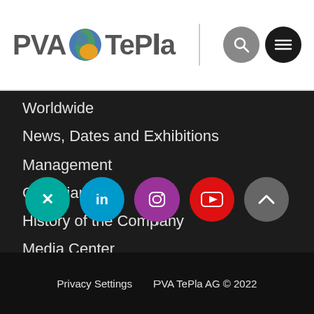[Figure (logo): PVA TePla AG company logo with globe icon]
Worldwide
News, Dates and Exhibitions
Management
Compliance
History of the Company
Media Center
Contact
[Figure (illustration): Row of social media icon circles: Xing (teal), LinkedIn (blue), Instagram (purple), YouTube (red), scroll-to-top (grey)]
Privacy Settings    PVA TePla AG © 2022